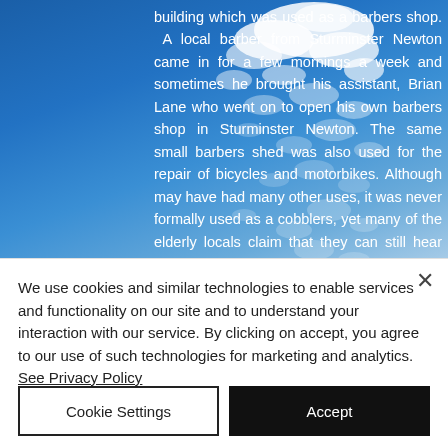[Figure (photo): Sky with white clouds on a blue background, with white text overlaid describing a barbers shop building. Text reads: building which was used as a barbers shop. A local barber from Sturminster Newton came in for a few mornings a week and sometimes he brought his assistant, Brian Lane who went on to open his own barbers shop in Sturminster Newton. The same small barbers shed was also used for the repair of bicycles and motorbikes. Although may have had many other uses, it was never formally used as a cobblers, yet many of the elderly locals claim that they can still hear the sound of tapping on a last, as if from a cobbler. Many in]
We use cookies and similar technologies to enable services and functionality on our site and to understand your interaction with our service. By clicking on accept, you agree to our use of such technologies for marketing and analytics. See Privacy Policy